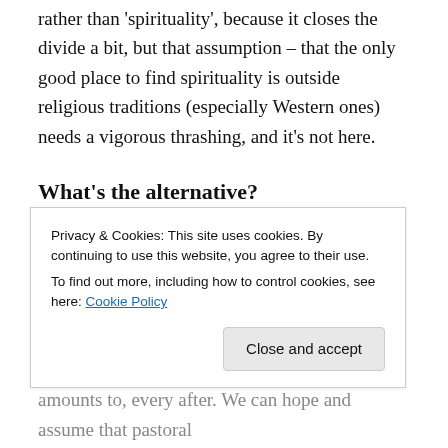rather than 'spirituality', because it closes the divide a bit, but that assumption – that the only good place to find spirituality is outside religious traditions (especially Western ones) needs a vigorous thrashing, and it's not here.
What's the alternative?
The document does a good job of outlining the thinking of the opposition, but is not so hot on helping pastoral ministers what to say in response. Present them with the truth and the love of Jesus Christ, along with a firm, non-compromising but
Privacy & Cookies: This site uses cookies. By continuing to use this website, you agree to their use.
To find out more, including how to control cookies, see here: Cookie Policy
[Close and accept]
amounts to, every after. We can hope and assume that pastoral